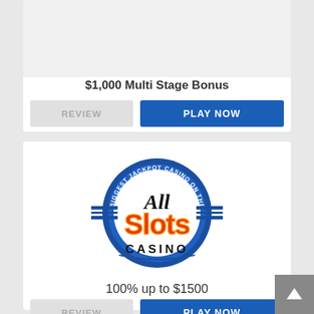[Figure (other): Empty gray image area for first casino card logo]
$1,000 Multi Stage Bonus
REVIEW
PLAY NOW
[Figure (logo): All Slots Casino logo — circular blue badge with text 'BIGGEST JACKPOT CASINO ON THE WEB', 'All Slots' in script/bold red/orange lettering, 'CASINO' in black, blue horizontal stripes on sides]
100% up to $1500
REVIEW
PLAY NOW